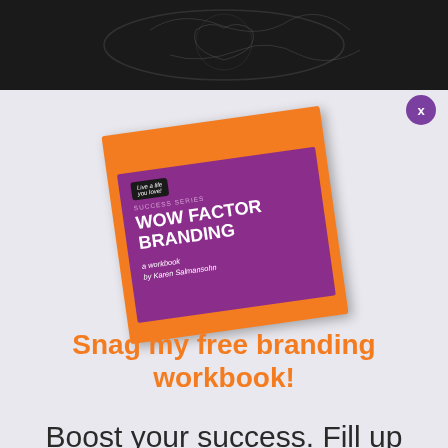[Figure (illustration): Dark banner header with faint chalk-sketch bird/animal illustration on dark background]
[Figure (illustration): Book cover for 'WOW FACTOR BRANDING - a workbook by Karen Salmansohn', Success Series, orange cover with purple panel, tilted at an angle]
Snag my free branding workbook!
Boost your success. Fill up